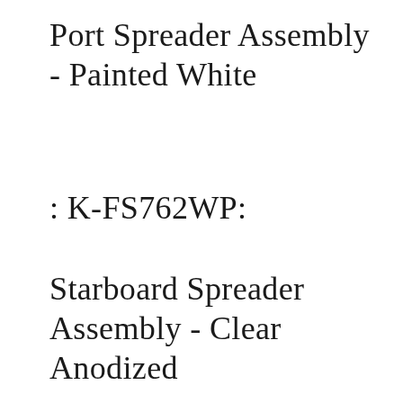Port Spreader Assembly - Painted White
: K-FS762WP:
Starboard Spreader Assembly - Clear Anodized